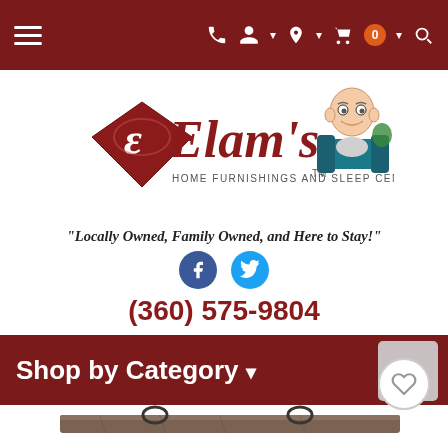Navigation bar with hamburger menu, phone icon, account icon, location icon, cart (0), search icon
[Figure (logo): Elam's Home Furnishings and Sleep Center logo with mascot character]
"Locally Owned, Family Owned, and Here to Stay!"
[Figure (illustration): Facebook and Twitter social media icon buttons]
(360) 575-9804
Shop by Category ▾
[Figure (photo): Partial product image showing the top of a wooden furniture piece with metal rings]